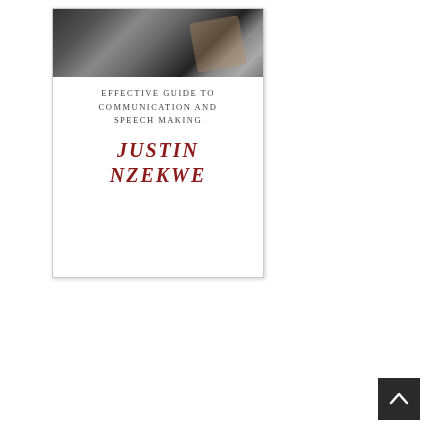[Figure (illustration): Book cover thumbnail for 'Effective Guide to Communication and Speech Making' by Justin Nzekwe. The cover shows a photo of a speaker at a podium at the top, followed by the subtitle in small caps and the author name in red italic text on a white background.]